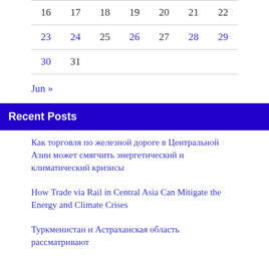| 16 | 17 | 18 | 19 | 20 | 21 | 22 |
| 23 | 24 | 25 | 26 | 27 | 28 | 29 |
| 30 | 31 |  |  |  |  |  |
Jun »
Recent Posts
Как торговля по железной дороге в Центральной Азии может смягчить энергетический и климатический кризисы
How Trade via Rail in Central Asia Can Mitigate the Energy and Climate Crises
Туркменистан и Астраханская область рассматривают